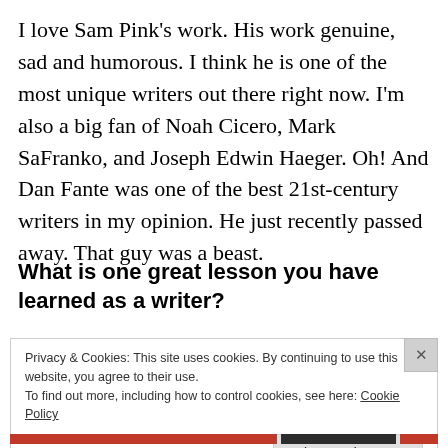I love Sam Pink's work. His work genuine, sad and humorous. I think he is one of the most unique writers out there right now. I'm also a big fan of Noah Cicero, Mark SaFranko, and Joseph Edwin Haeger. Oh! And Dan Fante was one of the best 21st-century writers in my opinion. He just recently passed away. That guy was a beast.
What is one great lesson you have learned as a writer?
Privacy & Cookies: This site uses cookies. By continuing to use this website, you agree to their use.
To find out more, including how to control cookies, see here: Cookie Policy